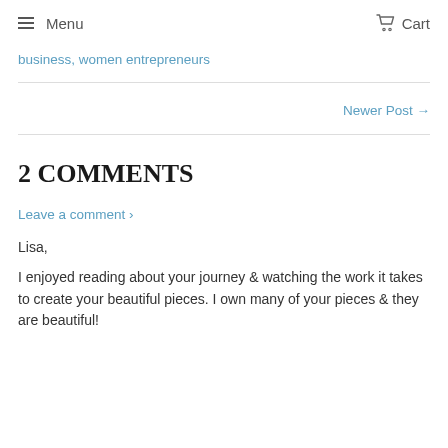Menu   Cart
business, women entrepreneurs
Newer Post →
2 COMMENTS
Leave a comment ›
Lisa,
I enjoyed reading about your journey & watching the work it takes to create your beautiful pieces. I own many of your pieces & they are beautiful!